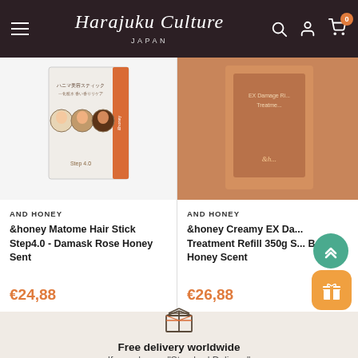Harajuku Culture JAPAN
[Figure (photo): Product image of &honey Matome Hair Stick Step4.0 - packaging showing hair product with Japanese text]
AND HONEY
&honey Matome Hair Stick Step4.0 - Damask Rose Honey Sent
€24,88
[Figure (photo): Partial product image of &honey Creamy EX Damage Treatment Refill - brown/orange packaging]
AND HONEY
&honey Creamy EX Da... Treatment Refill 350g S... Berry Honey Scent
€26,88
[Figure (infographic): Box/package delivery icon (outline style)]
Free delivery worldwide
If you choose "Standard Delivery"